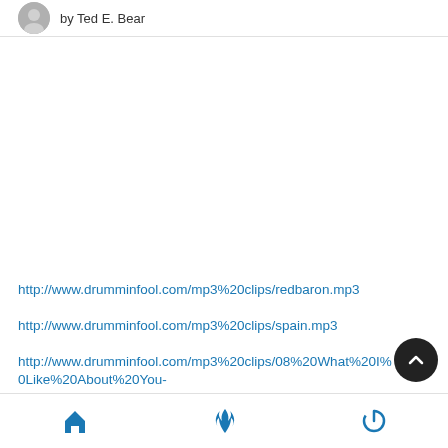by Ted E. Bear
http://www.drumminfool.com/mp3%20clips/redbaron.mp3
http://www.drumminfool.com/mp3%20clips/spain.mp3
http://www.drumminfool.com/mp3%20clips/08%20What%20I%20Like%20About%20You-
Home | Trending | Power